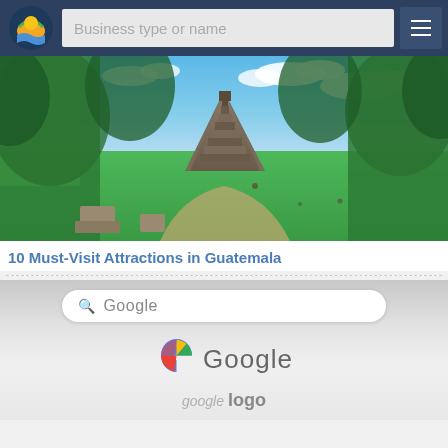[Figure (screenshot): Website header with logo, search input labeled 'Business type or name', and hamburger menu button on dark navy background]
[Figure (photo): Aerial/wide-angle photo of Tikal pyramid ruins in Guatemala, surrounded by green jungle, with blue sky and white clouds]
10 Must-Visit Attractions in Guatemala
[Figure (photo): Close-up photo of a phone screen showing Google search interface with the Google logo and 'google logo' text visible at the bottom]